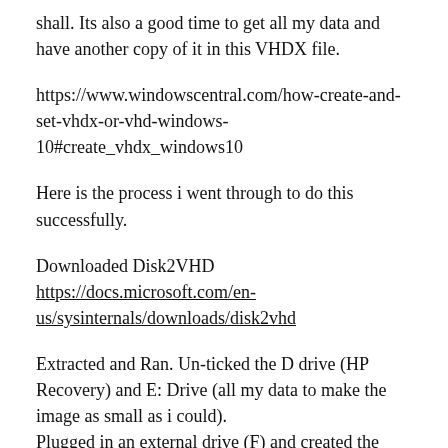shall. Its also a good time to get all my data and have another copy of it in this VHDX file.
https://www.windowscentral.com/how-create-and-set-vhdx-or-vhd-windows-10#create_vhdx_windows10
Here is the process i went through to do this successfully.
Downloaded Disk2VHD https://docs.microsoft.com/en-us/sysinternals/downloads/disk2vhd
Extracted and Ran. Un-ticked the D drive (HP Recovery) and E: Drive (all my data to make the image as small as i could). Plugged in an external drive (F) and created the VHDX of my bootable laptop on there. Used these settings: